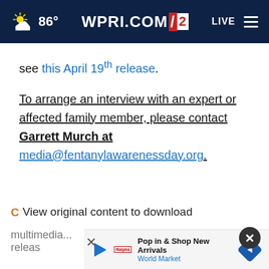WPRI.COM 12 | 86° | LIVE
see this April 19th release.
To arrange an interview with an expert or affected family member, please contact Garrett Murch at media@fentanylawarenessday.org.
View original content to download multimedia...news-relea...
Pop in & Shop New Arrivals World Market